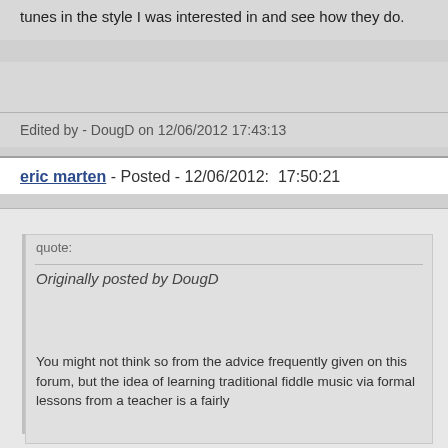tunes in the style I was interested in and see how they do.
Edited by - DougD on 12/06/2012 17:43:13
eric marten - Posted - 12/06/2012:  17:50:21
quote:
Originally posted by DougD
You might not think so from the advice frequently given on this forum, but the idea of learning traditional fiddle music via formal lessons from a teacher is a fairly recent one, and would surprise a lot of old timers.